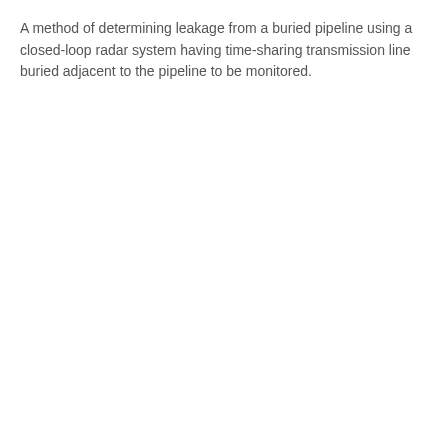A method of determining leakage from a buried pipeline using a closed-loop radar system having time-sharing transmission line buried adjacent to the pipeline to be monitored.